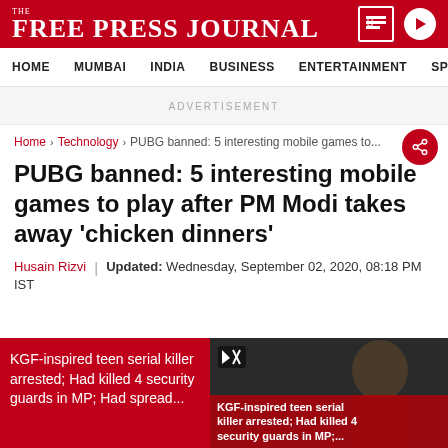THE FREE PRESS JOURNAL
HOME   MUMBAI   INDIA   BUSINESS   ENTERTAINMENT   SPO
ADVERTISEMENT
Home > Technology > PUBG banned: 5 interesting mobile games to...
PUBG banned: 5 interesting mobile games to play after PM Modi takes away 'chicken dinners'
Husain Rizvi | Updated: Wednesday, September 02, 2020, 08:18 PM IST
KGF-inspired teen serial killer arrested; Had killed 4 security guards in MP; Had spread...
[Figure (photo): Video thumbnail showing a man, with caption: KGF-inspired teen serial killer arrested; Had killed 4 security guards in MP;]